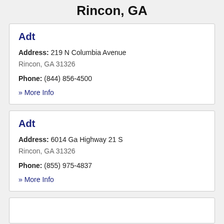Rincon, GA
Adt
Address: 219 N Columbia Avenue
Rincon, GA 31326
Phone: (844) 856-4500
» More Info
Adt
Address: 6014 Ga Highway 21 S
Rincon, GA 31326
Phone: (855) 975-4837
» More Info